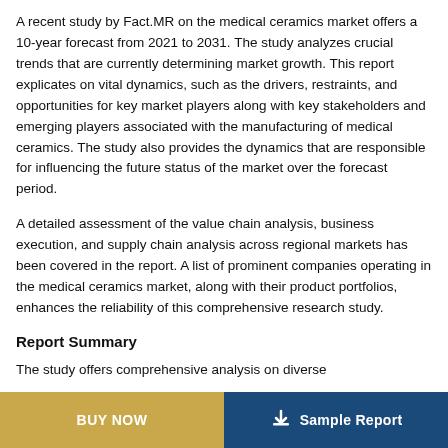A recent study by Fact.MR on the medical ceramics market offers a 10-year forecast from 2021 to 2031. The study analyzes crucial trends that are currently determining market growth. This report explicates on vital dynamics, such as the drivers, restraints, and opportunities for key market players along with key stakeholders and emerging players associated with the manufacturing of medical ceramics. The study also provides the dynamics that are responsible for influencing the future status of the market over the forecast period.
A detailed assessment of the value chain analysis, business execution, and supply chain analysis across regional markets has been covered in the report. A list of prominent companies operating in the medical ceramics market, along with their product portfolios, enhances the reliability of this comprehensive research study.
Report Summary
The study offers comprehensive analysis on diverse
BUY NOW | Sample Report